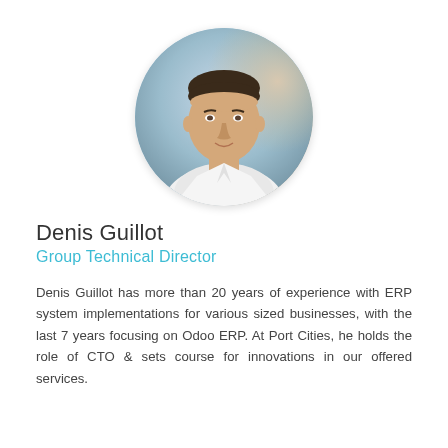[Figure (photo): Circular headshot photo of Denis Guillot, a man in a white shirt, with a blurred blue/beige background]
Denis Guillot
Group Technical Director
Denis Guillot has more than 20 years of experience with ERP system implementations for various sized businesses, with the last 7 years focusing on Odoo ERP. At Port Cities, he holds the role of CTO & sets course for innovations in our offered services.